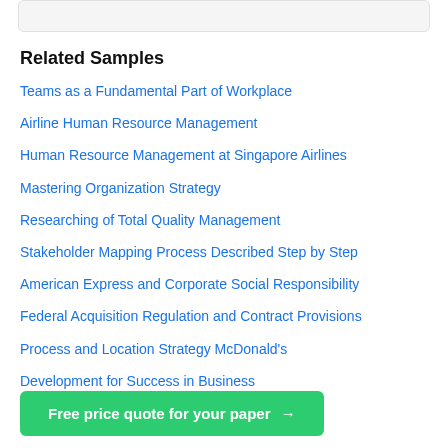Related Samples
Teams as a Fundamental Part of Workplace
Airline Human Resource Management
Human Resource Management at Singapore Airlines
Mastering Organization Strategy
Researching of Total Quality Management
Stakeholder Mapping Process Described Step by Step
American Express and Corporate Social Responsibility
Federal Acquisition Regulation and Contract Provisions
Process and Location Strategy McDonald's
Development for Success in Business
Free price quote for your paper →